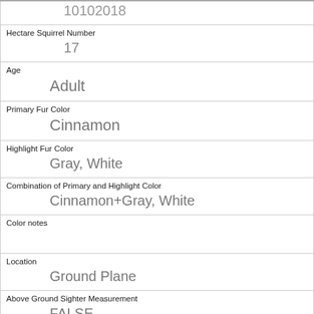| 10102018 |
| Hectare Squirrel Number | 17 |
| Age | Adult |
| Primary Fur Color | Cinnamon |
| Highlight Fur Color | Gray, White |
| Combination of Primary and Highlight Color | Cinnamon+Gray, White |
| Color notes |  |
| Location | Ground Plane |
| Above Ground Sighter Measurement | FALSE |
| Specific Location | climbed up tree |
| Running | 1 |